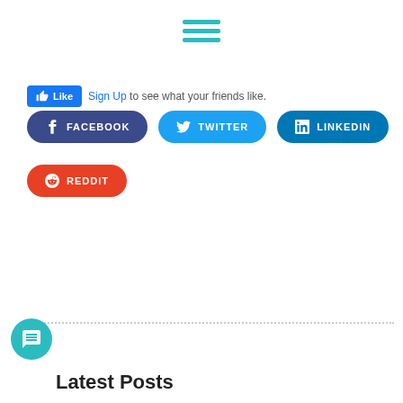[Figure (illustration): Teal hamburger menu icon (three horizontal lines) centered at the top of the page]
[Figure (illustration): Facebook Like button (blue thumbs-up) followed by 'Sign Up to see what your friends like.' text]
[Figure (illustration): Three social share buttons in a row: Facebook (dark blue), Twitter (light blue), LinkedIn (dark teal)]
[Figure (illustration): Reddit social share button (orange) on its own row]
[Figure (illustration): Teal circular chat bubble icon in lower left corner]
Latest Posts